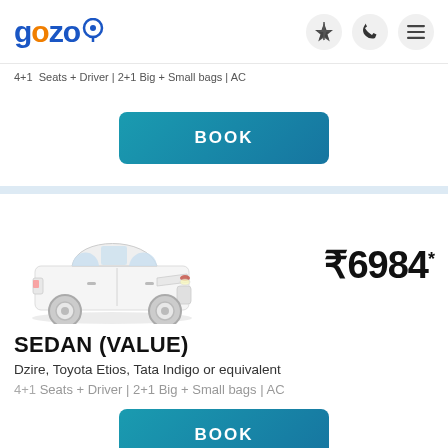gozo [logo with location pin icon] [lightning icon] [phone icon] [menu icon]
4+1 Seats + Driver | 2+1 Big + Small bags | AC
BOOK
[Figure (photo): White Toyota Etios sedan car photo]
₹6984*
SEDAN (VALUE)
Dzire, Toyota Etios, Tata Indigo or equivalent
4+1 Seats + Driver | 2+1 Big + Small bags | AC
BOOK